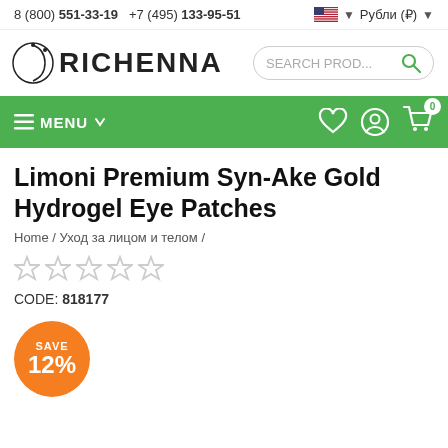8 (800) 551-33-19  +7 (495) 133-95-51  Рубли (₽)
[Figure (logo): Richenna brand logo with circular icon]
[Figure (screenshot): Search box with magnifier icon]
≡ MENU
Limoni Premium Syn-Ake Gold Hydrogel Eye Patches
Home / Уход за лицом и телом /
[Figure (other): 5 empty star rating icons]
CODE: 818177
[Figure (other): Orange circular badge with SAVE 12%]